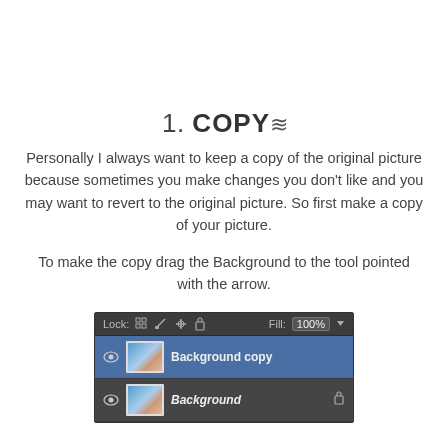1. COPY≋
Personally I always want to keep a copy of the original picture because sometimes you make changes you don't like and you may want to revert to the original picture. So first make a copy of your picture.
To make the copy drag the Background to the tool pointed with the arrow.
[Figure (screenshot): Photoshop layers panel showing 'Background copy' layer (active, highlighted in blue) and 'Background' layer below it with a lock icon. The toolbar shows Lock controls and Fill: 100%.]